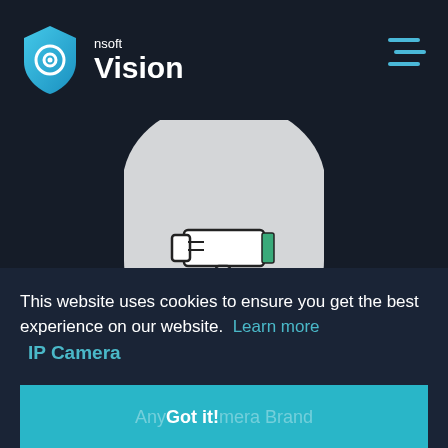[Figure (logo): nsoft Vision app logo: blue shield with eye icon, next to text 'nsoft' and 'Vision']
[Figure (illustration): Gray rounded shield shape containing a line-art IP security camera illustration with green accent]
This website uses cookies to ensure you get the best experience on our website.  Learn more
IP Camera
Any Got it! mera Brand
+